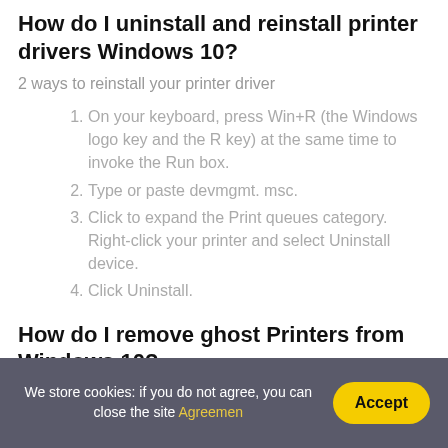How do I uninstall and reinstall printer drivers Windows 10?
2 ways to reinstall your printer driver
On your keyboard, press Win+R (the Windows logo key and the R key) at the same time to invoke the Run box.
Type or paste devmgmt. msc.
Click to expand the Print queues category. Right-click your printer and select Uninstall device.
Click Uninstall.
How do I remove ghost Printers from Windows 10?
Removing Ghost Printer
We store cookies: if you do not agree, you can close the site Agreemen